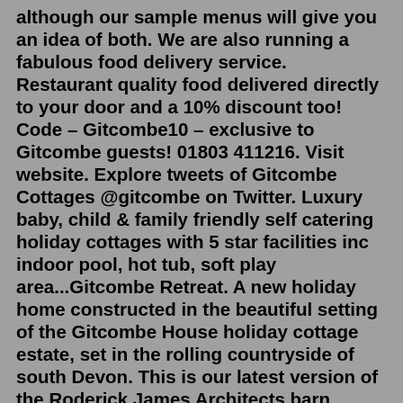although our sample menus will give you an idea of both. We are also running a fabulous food delivery service. Restaurant quality food delivered directly to your door and a 10% discount too! Code – Gitcombe10 – exclusive to Gitcombe guests! 01803 411216. Visit website. Explore tweets of Gitcombe Cottages @gitcombe on Twitter. Luxury baby, child & family friendly self catering holiday cottages with 5 star facilities inc indoor pool, hot tub, soft play area...Gitcombe Retreat. A new holiday home constructed in the beautiful setting of the Gitcombe House holiday cottage estate, set in the rolling countryside of south Devon. This is our latest version of the Roderick James Architects barn house - complete with exposed green oak frame and contemporary full-height joinery screens to the external walls. Gitcombe House Country Cottages - Gitcombe Retreat (ref UKC3973) in Cornworthy, near Totnes While little is known about the full history of Jenni's Cottage, its size suggests that it was of some...[TOKYO SHAREHOUSE] A portal site for...